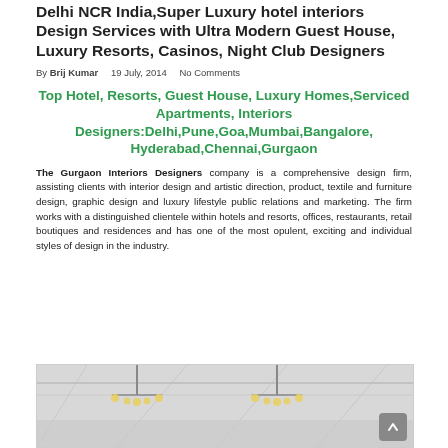Delhi NCR India,Super Luxury hotel interiors Design Services with Ultra Modern Guest House, Luxury Resorts, Casinos, Night Club Designers
By Brij Kumar   19 July, 2014   No Comments
Top Hotel, Resorts, Guest House, Luxury Homes,Serviced Apartments, Interiors Designers:Delhi,Pune,Goa,Mumbai,Bangalore,Hyderabad,Chennai,Gurgaon
The Gurgaon Interiors Designers company is a comprehensive design firm, assisting clients with interior design and artistic direction, product, textile and furniture design, graphic design and luxury lifestyle public relations and marketing. The firm works with a distinguished clientele within hotels and resorts, offices, restaurants, retail boutiques and residences and has one of the most opulent, exciting and individual styles of design in the industry.
[Figure (photo): Interior ceiling of a luxury hotel or resort showing chandeliers and architectural lighting elements]